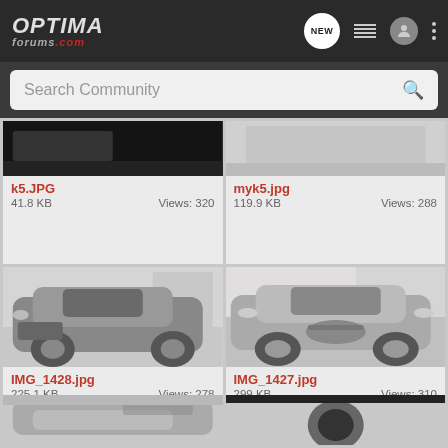OPTIMA FORUMS.com
Search Community
[Figure (screenshot): Dark photo thumbnail (partially visible), file: k5.JPG, 41.8 KB, Views: 320]
[Figure (screenshot): Light colored car thumbnail (partially visible), file: myk5.jpg, 119.9 KB, Views: 288]
[Figure (photo): Silver Kia Optima front view in parking lot, file: IMG_1428.jpg, 225.1 KB, Views: 278]
[Figure (photo): Silver Kia Optima front 3/4 view in parking lot, file: IMG_1427.jpg, 299 KB, Views: 310]
[Figure (photo): Black and white photo of Kia Optima rear, partially visible, bottom row left]
[Figure (photo): Close-up of car body panel with circular vent, partially visible, bottom row right]